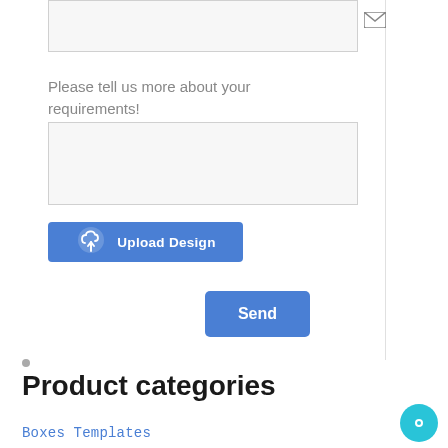[Figure (screenshot): Email input field with envelope icon on right side]
Please tell us more about your requirements!
[Figure (screenshot): Large text area input field for requirements]
[Figure (screenshot): Upload Design button with cloud upload icon]
[Figure (screenshot): Send button in blue]
Product categories
Boxes Templates
[Figure (screenshot): Chat bubble icon at bottom right]